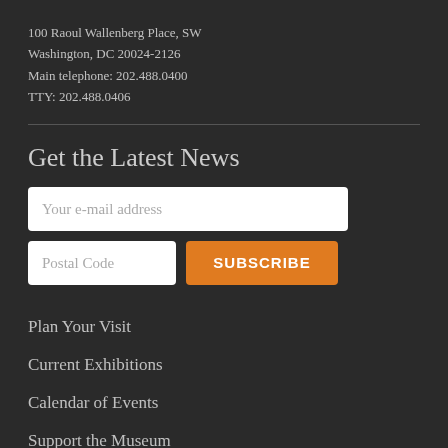100 Raoul Wallenberg Place, SW
Washington, DC 20024-2126
Main telephone: 202.488.0400
TTY: 202.488.0406
Get the Latest News
Your e-mail address
Postal Code
SUBSCRIBE
Plan Your Visit
Current Exhibitions
Calendar of Events
Support the Museum